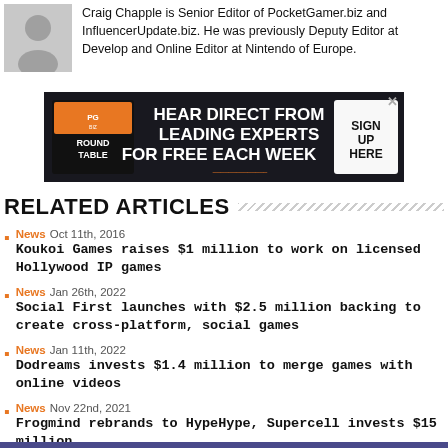[Figure (photo): Headshot photo of Craig Chapple]
Craig Chapple is Senior Editor of PocketGamer.biz and InfluencerUpdate.biz. He was previously Deputy Editor at Develop and Online Editor at Nintendo of Europe.
[Figure (screenshot): Advertisement banner: HEAR DIRECT FROM LEADING EXPERTS FOR FREE EACH WEEK. ROUND TABLE. SIGN UP HERE.]
RELATED ARTICLES
News  Oct 11th, 2016  Koukoi Games raises $1 million to work on licensed Hollywood IP games
News  Jan 26th, 2022  Social First launches with $2.5 million backing to create cross-platform, social games
News  Jan 11th, 2022  Dodreams invests $1.4 million to merge games with online videos
News  Nov 22nd, 2021  Frogmind rebrands to HypeHype, Supercell invests $15 million
Job News  Sep 30th, 2021  Joakim Achrén appointed Fingersoft's board